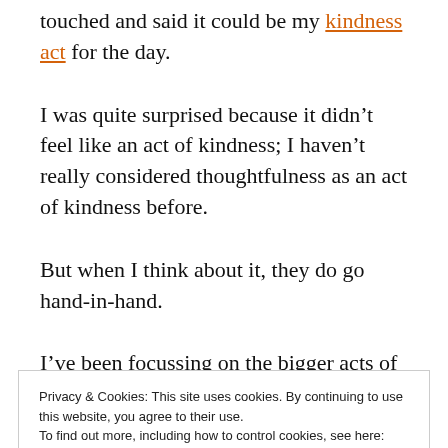touched and said it could be my kindness act for the day.
I was quite surprised because it didn’t feel like an act of kindness; I haven’t really considered thoughtfulness as an act of kindness before.
But when I think about it, they do go hand-in-hand.
I’ve been focussing on the bigger acts of
Privacy & Cookies: This site uses cookies. By continuing to use this website, you agree to their use.
To find out more, including how to control cookies, see here: Cookie Policy
Close and accept